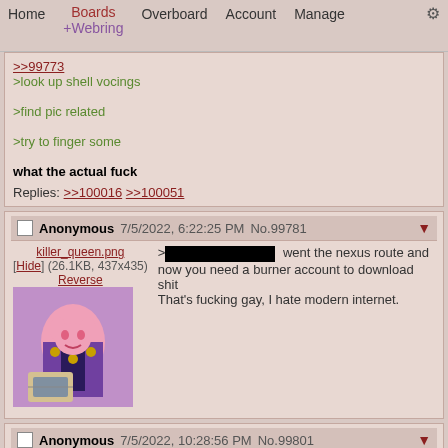Home  Boards +Webring  Overboard  Account  Manage  ⚙
>>99773
>look up shell vocings
>find pic related
>try to finger some
what the actual fuck

Replies: >>100016 >>100051
Anonymous 7/5/2022, 6:22:25 PM No.99781
[Figure (illustration): Anime/cartoon style image of a pink cat-like character in a purple suit with skull tie, eating food at a table]
> [redacted] went the nexus route and now you need a burner account to download shit
That's fucking gay, I hate modern internet.
Anonymous 7/5/2022, 10:28:56 PM No.99801
2217.jpg [Hide] (121.5KB, 770x641)
Reverse
>>98283